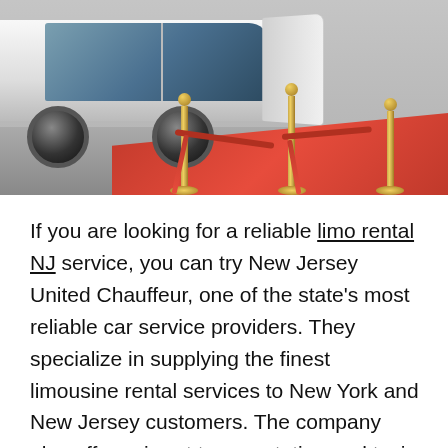[Figure (photo): A white limousine parked on asphalt with red carpet on the ground, gold stanchion poles with red velvet ropes in the foreground, evoking a VIP event arrival scene.]
If you are looking for a reliable limo rental NJ service, you can try New Jersey United Chauffeur, one of the state's most reliable car service providers. They specialize in supplying the finest limousine rental services to New York and New Jersey customers. The company also offers airport transportation and taxi services. Their extensive fleet of luxury vehicles and experienced chauffeurs are sure to make your special day truly memorable.